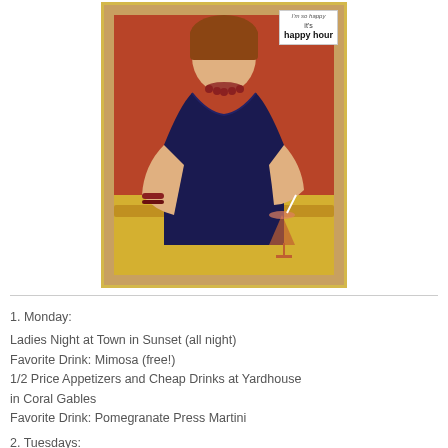[Figure (photo): A woman in a dark navy dress holding a cocktail drink, framed in a yellow/gold border. Text overlay reads: 'I'm so happy it's happy hour']
1. Monday:
Ladies Night at Town in Sunset (all night)
Favorite Drink: Mimosa (free!)
1/2 Price Appetizers and Cheap Drinks at Yardhouse in Coral Gables
Favorite Drink: Pomegranate Press Martini
2. Tuesdays:
1/2 Off Wine at Greenstreet in Grove
Mercadito's $5 Margaritas and Drink Specials in